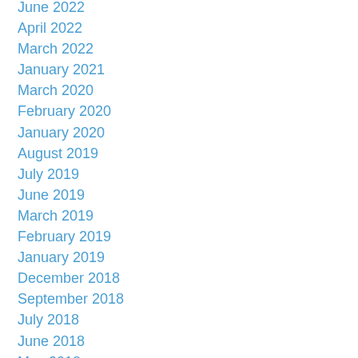June 2022
April 2022
March 2022
January 2021
March 2020
February 2020
January 2020
August 2019
July 2019
June 2019
March 2019
February 2019
January 2019
December 2018
September 2018
July 2018
June 2018
May 2018
March 2018
July 2017
May 2017